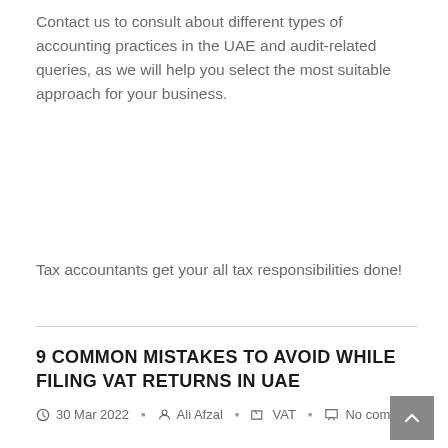Contact us to consult about different types of accounting practices in the UAE and audit-related queries, as we will help you select the most suitable approach for your business.
Tax accountants get your all tax responsibilities done!
9 COMMON MISTAKES TO AVOID WHILE FILING VAT RETURNS IN UAE
30 Mar 2022  Ali Afzal  VAT  No comment